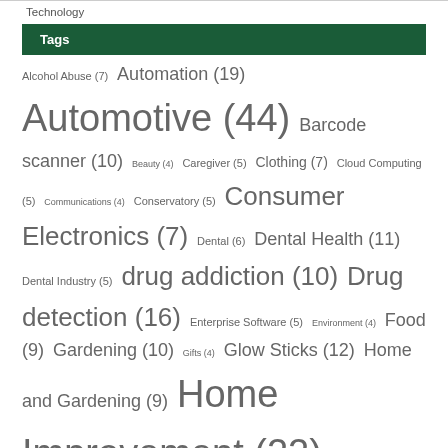Technology
Tags
Alcohol Abuse (7) Automation (19) Automotive (44) Barcode scanner (10) Beauty (4) Caregiver (5) Clothing (7) Cloud Computing (5) Communications (4) Conservatory (5) Consumer Electronics (7) Dental (6) Dental Health (11) Dental Industry (5) drug addiction (10) Drug detection (16) Enterprise Software (5) Environment (4) Food (9) Gardening (10) Gifts (4) Glow Sticks (12) Home and Gardening (9) Home Improvement (22) Insurance (17) Internet Marketing (8) Jewelry (4) Kids and Teens (4) law (9) Marijuana abuse (8) Marketing and Advertising (13) Nanny care (7) Online Shopping (9) Personal Finance (8)